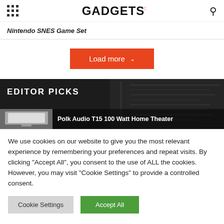GADGETS
Nintendo SNES Game Set
Load more
EDITOR PICKS
Polk Audio T15 100 Watt Home Theater
We use cookies on our website to give you the most relevant experience by remembering your preferences and repeat visits. By clicking "Accept All", you consent to the use of ALL the cookies. However, you may visit "Cookie Settings" to provide a controlled consent.
Cookie Settings
Accept All